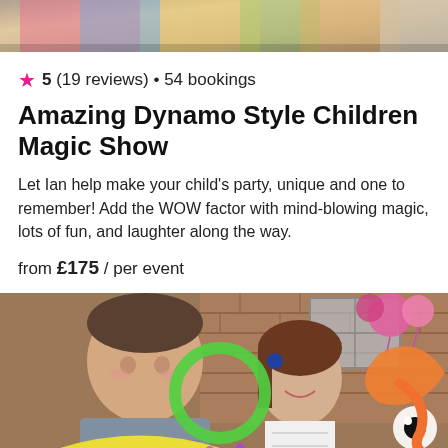[Figure (photo): Top cropped photo of people (partial view showing colorful clothing)]
★ 5 (19 reviews) • 54 bookings
Amazing Dynamo Style Children Magic Show
Let Ian help make your child's party, unique and one to remember! Add the WOW factor with mind-blowing magic, lots of fun, and laughter along the way.
from £175 / per event
[Figure (photo): Photo of children at a party with balloon animals, boy in foreground and girl smiling behind colorful balloon creations]